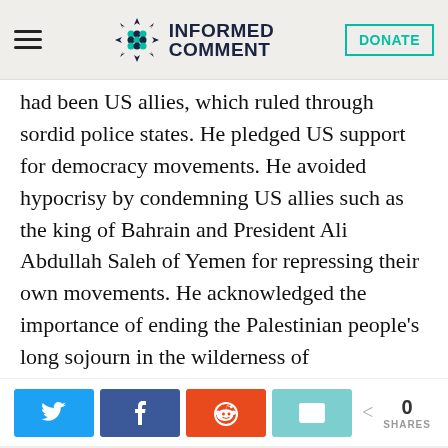Informed Comment
had been US allies, which ruled through sordid police states. He pledged US support for democracy movements. He avoided hypocrisy by condemning US allies such as the king of Bahrain and President Ali Abdullah Saleh of Yemen for repressing their own movements. He acknowledged the importance of ending the Palestinian people's long sojourn in the wilderness of statelessness. He pointed to the constraining by corrupt elites of the economic and
0 SHARES